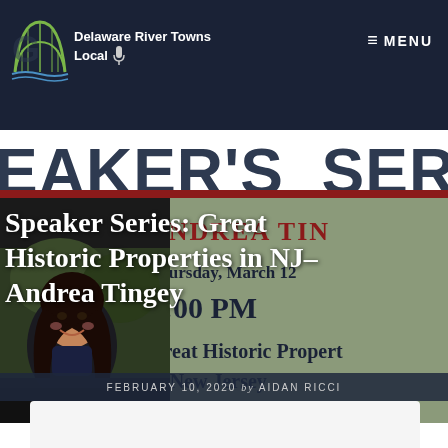Delaware River Towns Local
MENU
[Figure (screenshot): Website screenshot of Delaware River Towns Local podcast/speaker series page showing a banner with 'SPEAKER'S SERIES' text, a photo of Andrea Tingey, and an event poster for 'Great Historic Properties in New Jersey' on Thursday March 12 at 7:00 PM]
Speaker Series: Great Historic Properties in NJ- Andrea Tingey
FEBRUARY 10, 2020 by AIDAN RICCI
Great Historic Properties in New Jersey